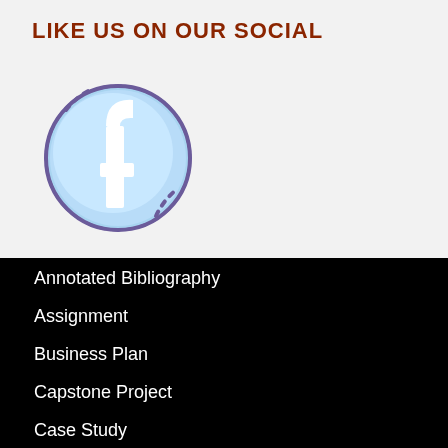LIKE US ON OUR SOCIAL
[Figure (logo): Facebook logo icon — circular blue gradient button with white lowercase 'f' and decorative dashed arc pattern around the edge in purple outline style]
Annotated Bibliography
Assignment
Business Plan
Capstone Project
Case Study
Coursework Writing